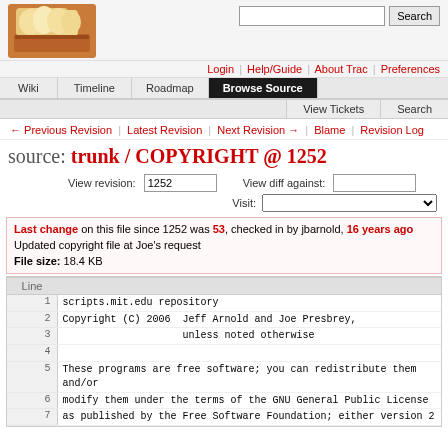[Figure (logo): Trac bread/toast logo image]
Login | Help/Guide | About Trac | Preferences
Wiki | Timeline | Roadmap | Browse Source | View Tickets | Search
← Previous Revision | Latest Revision | Next Revision → | Blame | Revision Log
source: trunk / COPYRIGHT @ 1252
View revision: 1252   View diff against:   Visit:
Last change on this file since 1252 was 53, checked in by jbarnold, 16 years ago
Updated copyright file at Joe's request
File size: 18.4 KB
| Line |  |
| --- | --- |
| 1 | scripts.mit.edu repository |
| 2 | Copyright (C) 2006  Jeff Arnold and Joe Presbrey, |
| 3 |                     unless noted otherwise |
| 4 |  |
| 5 | These programs are free software; you can redistribute them and/or |
| 6 | modify them under the terms of the GNU General Public License |
| 7 | as published by the Free Software Foundation; either version 2 |